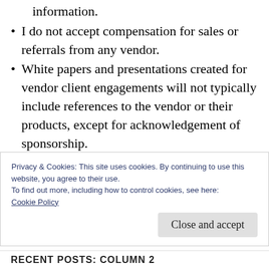information.
I do not accept compensation for sales or referrals from any vendor.
White papers and presentations created for vendor client engagements will not typically include references to the vendor or their products, except for acknowledgement of sponsorship.
I strictly honor non-disclosures, and do not use information gathered under non-disclosure from one client to provide input to
Privacy & Cookies: This site uses cookies. By continuing to use this website, you agree to their use.
To find out more, including how to control cookies, see here:
Cookie Policy
RECENT POSTS: COLUMN 2